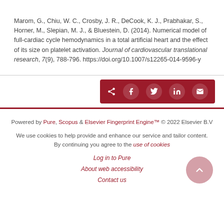Marom, G., Chiu, W. C., Crosby, J. R., DeCook, K. J., Prabhakar, S., Horner, M., Slepian, M. J., & Bluestein, D. (2014). Numerical model of full-cardiac cycle hemodynamics in a total artificial heart and the effect of its size on platelet activation. Journal of cardiovascular translational research, 7(9), 788-796. https://doi.org/10.1007/s12265-014-9596-y
[Figure (other): Share buttons row with dark red background: share icon, Facebook, Twitter, LinkedIn, Email icons]
Powered by Pure, Scopus & Elsevier Fingerprint Engine™ © 2022 Elsevier B.V
We use cookies to help provide and enhance our service and tailor content. By continuing you agree to the use of cookies
Log in to Pure
About web accessibility
Contact us